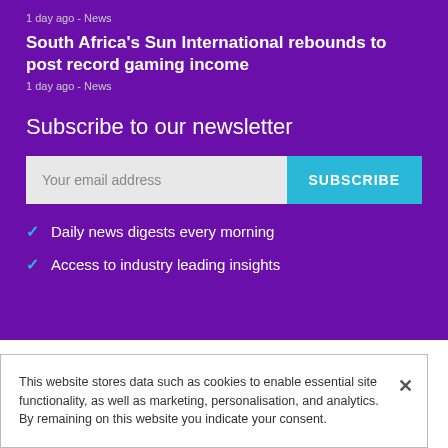1 day ago - News
South Africa's Sun International rebounds to post record gaming income
1 day ago - News
Subscribe to our newsletter
Your email address
SUBSCRIBE
Daily news digests every morning
Access to industry leading insights
This website stores data such as cookies to enable essential site functionality, as well as marketing, personalisation, and analytics. By remaining on this website you indicate your consent.